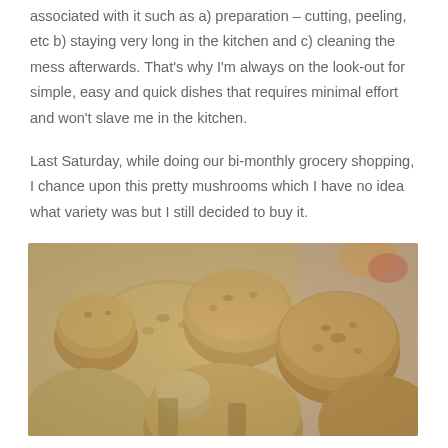associated with it such as a) preparation – cutting, peeling, etc b) staying very long in the kitchen and c) cleaning the mess afterwards. That's why I'm always on the look-out for simple, easy and quick dishes that requires minimal effort and won't slave me in the kitchen.
Last Saturday, while doing our bi-monthly grocery shopping, I chance upon this pretty mushrooms which I have no idea what variety was but I still decided to buy it.
[Figure (photo): Close-up photograph of multiple brown mushrooms with rounded caps, clustered together on a surface.]